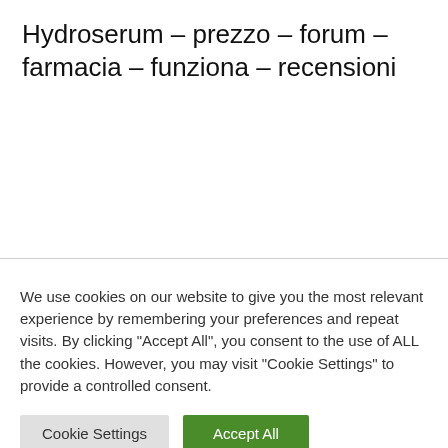Hydroserum – prezzo – forum – farmacia – funziona – recensioni
We use cookies on our website to give you the most relevant experience by remembering your preferences and repeat visits. By clicking "Accept All", you consent to the use of ALL the cookies. However, you may visit "Cookie Settings" to provide a controlled consent.
Cookie Settings | Accept All